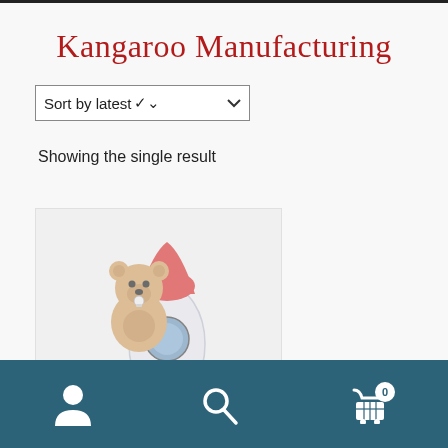Kangaroo Manufacturing
Sort by latest
Showing the single result
[Figure (illustration): A teddy bear riding a rocket ship illustration, semi-transparent. The bear is tan/brown with a pacifier, sitting on a white and blue rocket with red accents and a circular porthole window.]
Navigation bar with person/account icon, search icon, and shopping cart icon with badge showing 0